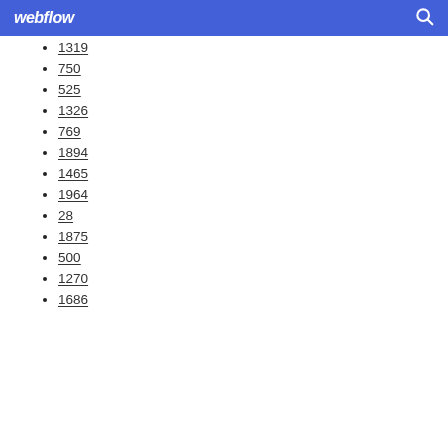webflow
1319
750
525
1326
769
1894
1465
1964
28
1875
500
1270
1686